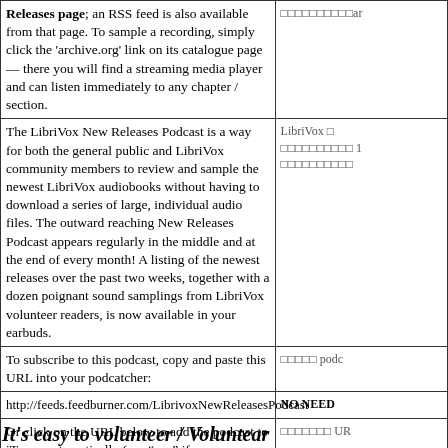| Releases page; an RSS feed is also available from that page. To sample a recording, simply click the 'archive.org' link on its catalogue page — there you will find a streaming media player and can listen immediately to any chapter / section. | □□□□□□□□□□ar |
| The LibriVox New Releases Podcast is a way for both the general public and LibriVox community members to review and sample the newest LibriVox audiobooks without having to download a series of large, individual audio files. The outward reaching New Releases Podcast appears regularly in the middle and at the end of every month! A listing of the newest releases over the past two weeks, together with a dozen poignant sound samplings from LibriVox volunteer readers, is now available in your earbuds. | LibriVox □ □□□□□□□□□ 1 □□□□□□□□□□ |
| To subscribe to this podcast, copy and paste this URL into your podcatcher: | □□□□□ podc |
| http://feeds.feedburner.com/LibrivoxNewReleasesPodcast | NO NEED |
| Or click on the URL below to add the podcast to iTunes automatically (say "yes" if your computer asks): | □□□□□□□ UR |
| itpc://feeds.feedburner.com/LibrivoxNewReleasesPodcast | itpc://feed |
It's easy to volunteer / Voluntear